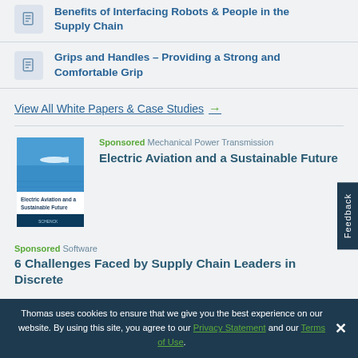Benefits of Interfacing Robots & People in the Supply Chain
Grips and Handles – Providing a Strong and Comfortable Grip
View All White Papers & Case Studies →
[Figure (illustration): Book cover of 'Electric Aviation and a Sustainable Future' white paper by Schenck]
Sponsored Mechanical Power Transmission
Electric Aviation and a Sustainable Future
Sponsored Software
6 Challenges Faced by Supply Chain Leaders in Discrete
Thomas uses cookies to ensure that we give you the best experience on our website. By using this site, you agree to our Privacy Statement and our Terms of Use.